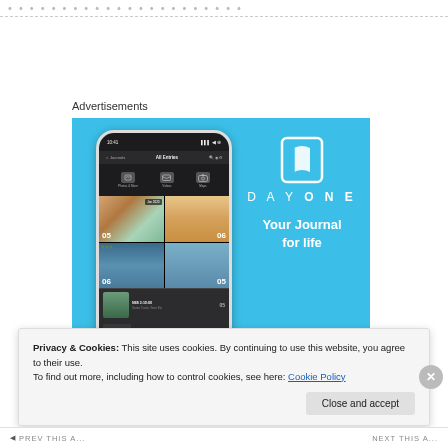Advertisements
[Figure (screenshot): DayOne app advertisement showing a smartphone with the DayOne journal app interface displaying photo entries, alongside the DayOne logo, tagline 'Your Journal for life', and a 'Get the app' button on a sky-blue background.]
Privacy & Cookies: This site uses cookies. By continuing to use this website, you agree to their use.
To find out more, including how to control cookies, see here: Cookie Policy
Close and accept
NEXT THIS A…